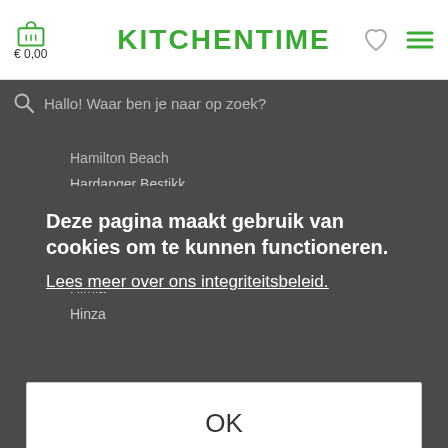KITCHENTIME | € 0,00
Hallo! Waar ben je naar op zoek?
Hamilton Beach
Hardanger Bestikk
Hario
Havsö
Heimot
Himla
Hinza
Deze pagina maakt gebruik van cookies om te kunnen functioneren.
Lees meer over ons integriteitsbeleid.
OK
Horwood
House Doctor
HUGONORA
Hällmark
Höganäs Keramik